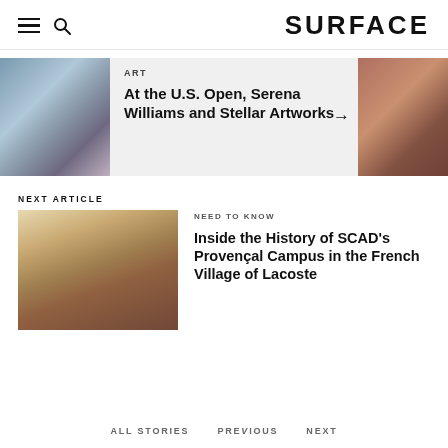SURFACE
[Figure (photo): Carousel card: mosaic/pebble sculpture figure on left, article card in center with ART category and headline, partial figure photo on right with navigation arrow]
ART
At the U.S. Open, Serena Williams and Stellar Artworks
NEXT ARTICLE
[Figure (photo): Landscape photo of Provençal hillside village with terracotta rooftops and rolling green hills in background, pink-blue sky]
NEED TO KNOW
Inside the History of SCAD's Provençal Campus in the French Village of Lacoste
ALL STORIES   PREVIOUS   NEXT